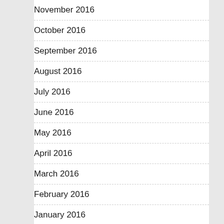November 2016
October 2016
September 2016
August 2016
July 2016
June 2016
May 2016
April 2016
March 2016
February 2016
January 2016
Categories